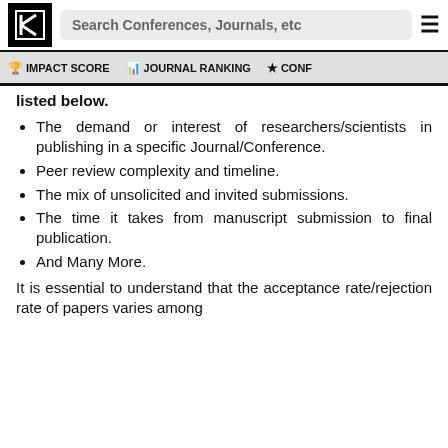Search Conferences, Journals, etc
IMPACT SCORE | JOURNAL RANKING | CONF...
listed below.
The demand or interest of researchers/scientists in publishing in a specific Journal/Conference.
Peer review complexity and timeline.
The mix of unsolicited and invited submissions.
The time it takes from manuscript submission to final publication.
And Many More.
It is essential to understand that the acceptance rate/rejection rate of papers varies among